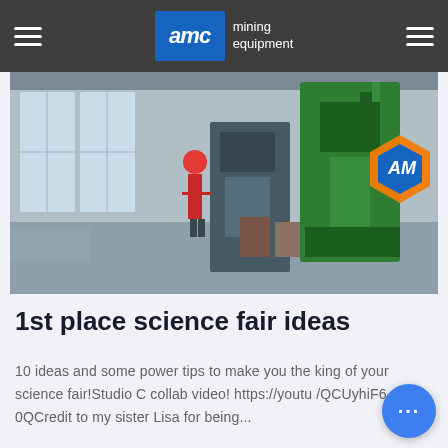AMC mining equipment
[Figure (photo): Industrial mining equipment facility interior with a worker in red hard hat standing among large green machinery. AMC hexagonal logo visible on right side.]
1st place science fair ideas
10 ideas and some power tips to make you the king of your science fair!Studio C collab video! https://youtu /QCUyhiF6-0QCredit to my sister Lisa for being...